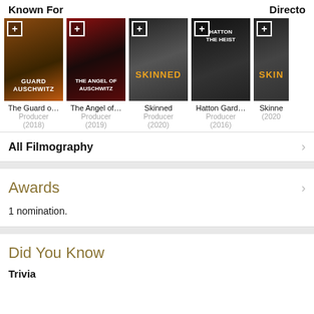Known For   Director
[Figure (photo): Film poster: The Guard of Auschwitz (2018)]
[Figure (photo): Film poster: The Angel of Auschwitz (2019)]
[Figure (photo): Film poster: Skinned (2020)]
[Figure (photo): Film poster: Hatton Garden (2016)]
[Figure (photo): Film poster: Skinned (2020) partial]
The Guard o...
Producer
(2018)
The Angel of...
Producer
(2019)
Skinned
Producer
(2020)
Hatton Gard...
Producer
(2016)
Skinne
(2020
All Filmography
Awards
1 nomination.
Did You Know
Trivia